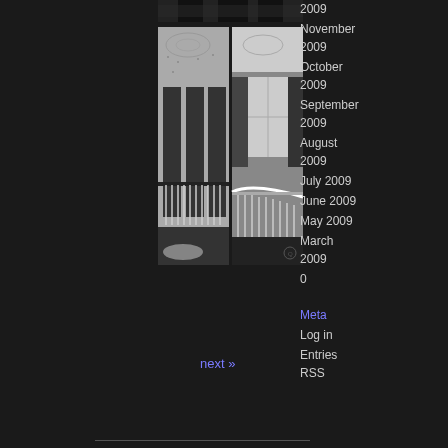[Figure (photo): Black and white photo strip showing interior architectural detail at top]
[Figure (photo): Black and white split photograph showing interior staircase with railings from two angles]
2009
November 2009
October 2009
September 2009
August 2009
July 2009
June 2009
May 2009
March 2009
0
Meta
Log in
Entries RSS
next »